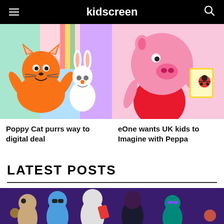kidscreen
[Figure (illustration): Cartoon orange cat (Poppy Cat) with a white rabbit against colorful background]
[Figure (illustration): Peppa Pig cartoon character in red holding a yellow book]
Poppy Cat purrs way to digital deal
eOne wants UK kids to Imagine with Peppa
LATEST POSTS
[Figure (illustration): Animated characters group - colorful 3D animated figures on purple background]